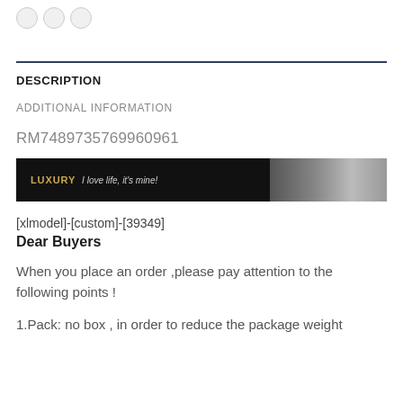[Figure (illustration): Three circular icon buttons at the top left, partially visible]
DESCRIPTION
ADDITIONAL INFORMATION
RM7489735769960961
[Figure (photo): A dark banner with the word LUXURY in gold and tagline 'I love life, it's mine!' with a luxury interior room image on the right]
[xlmodel]-[custom]-[39349]
Dear Buyers
When you place an order ,please pay attention to the following points !
1.Pack: no box , in order to reduce the package weight